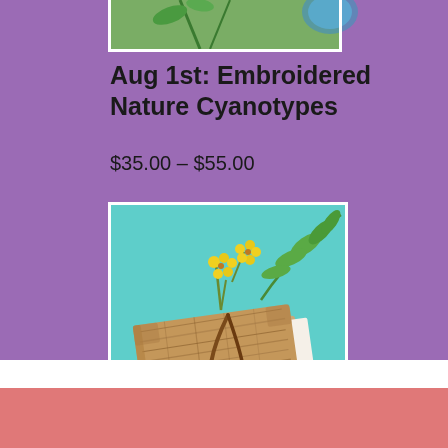[Figure (photo): Top portion of a product image on purple background, partially cropped at top]
Aug 1st: Embroidered Nature Cyanotypes
$35.00 – $55.00
[Figure (photo): A cork-covered journal tied with a leather cord, decorated with yellow flowers and green leafy branch on a teal/mint green background]